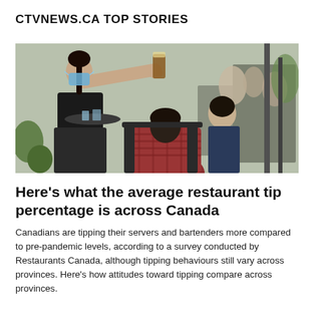CTVNEWS.CA TOP STORIES
[Figure (photo): A masked waitress in black uniform serving drinks on a tray to customers seated at an outdoor patio restaurant. Patrons visible in background.]
Here's what the average restaurant tip percentage is across Canada
Canadians are tipping their servers and bartenders more compared to pre-pandemic levels, according to a survey conducted by Restaurants Canada, although tipping behaviours still vary across provinces. Here's how attitudes toward tipping compare across provinces.